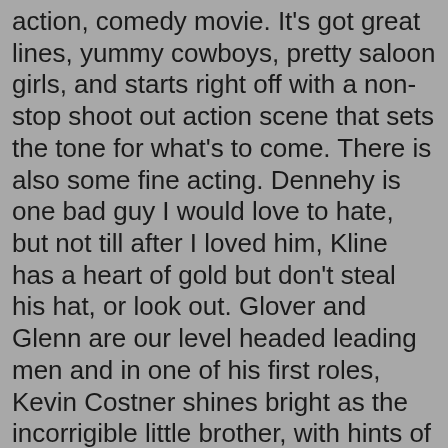action, comedy movie. It's got great lines, yummy cowboys, pretty saloon girls, and starts right off with a non-stop shoot out action scene that sets the tone for what's to come. There is also some fine acting. Dennehy is one bad guy I would love to hate, but not till after I loved him, Kline has a heart of gold but don't steal his hat, or look out. Glover and Glenn are our level headed leading men and in one of his first roles, Kevin Costner shines bright as the incorrigible little brother, with hints of a dark side.
Rent Silverado this weekend for a look back to when the west was fun.